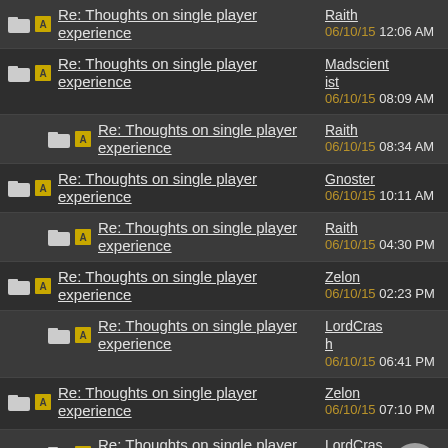Re: Thoughts on single player experience — Raith — 06/10/15 12:06 AM
Re: Thoughts on single player experience — Madscientist — 06/10/15 08:09 AM
Re: Thoughts on single player experience — Raith — 06/10/15 08:34 AM
Re: Thoughts on single player experience — Gnoster — 06/10/15 10:11 AM
Re: Thoughts on single player experience — Raith — 06/10/15 04:30 PM
Re: Thoughts on single player experience — Zelon — 06/10/15 02:23 PM
Re: Thoughts on single player experience — LordCrash — 06/10/15 06:41 PM
Re: Thoughts on single player experience — Zelon — 06/10/15 07:10 PM
Re: Thoughts on single player experience — LordCrash — 06/10/15 07:20 PM